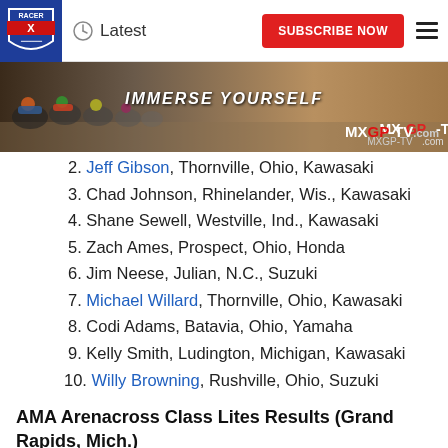Latest | SUBSCRIBE NOW
[Figure (photo): Motocross banner with riders and text IMMERSE YOURSELF and MXGP-TV.com logo]
2. Jeff Gibson, Thornville, Ohio, Kawasaki
3. Chad Johnson, Rhinelander, Wis., Kawasaki
4. Shane Sewell, Westville, Ind., Kawasaki
5. Zach Ames, Prospect, Ohio, Honda
6. Jim Neese, Julian, N.C., Suzuki
7. Michael Willard, Thornville, Ohio, Kawasaki
8. Codi Adams, Batavia, Ohio, Yamaha
9. Kelly Smith, Ludington, Michigan, Kawasaki
10. Willy Browning, Rushville, Ohio, Suzuki
AMA Arenacross Class Lites Results (Grand Rapids, Mich.)
1. Willy Browning, Rushville, Ohio, Suzuki